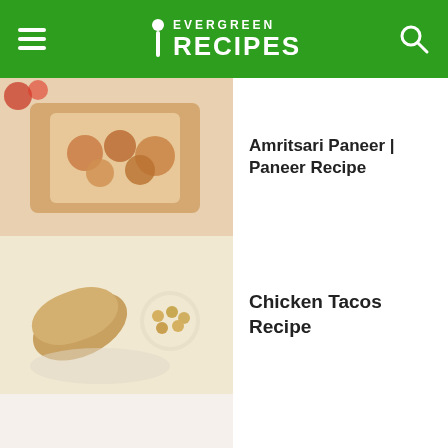EVERGREEN RECIPES
[Figure (photo): Photo of Amritsari Paneer dish]
Amritsari Paneer | Paneer Recipe
[Figure (photo): Photo of Chicken Tacos dish]
Chicken Tacos Recipe
[Figure (photo): Photo of Crispy Gobi Pakora dish]
Crispy Gobi Pakora Recipe
[Figure (photo): Photo of Vegetable Idli dish]
Vegetable Idli Recipe
Facebook | Twitter | Google+ | Pinterest | WhatsApp